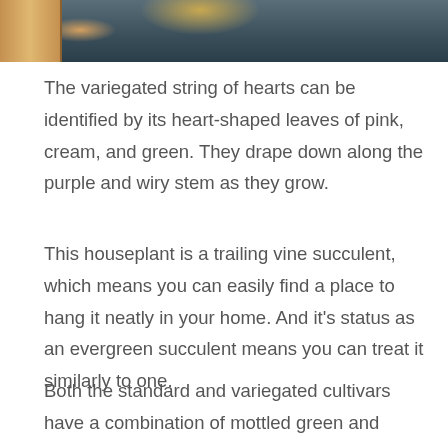[Figure (photo): Partial photo at the top of the page showing what appears to be a plant or cardboard box on a blue/teal background, with a finger visible at the top left edge.]
The variegated string of hearts can be identified by its heart-shaped leaves of pink, cream, and green. They drape down along the purple and wiry stem as they grow.
This houseplant is a trailing vine succulent, which means you can easily find a place to hang it neatly in your home. And it's status as an evergreen succulent means you can treat it similarly to one.
Both the standard and variegated cultivars have a combination of mottled green and silvery grey leaves. However, the variegated cultivar is distinguished by a